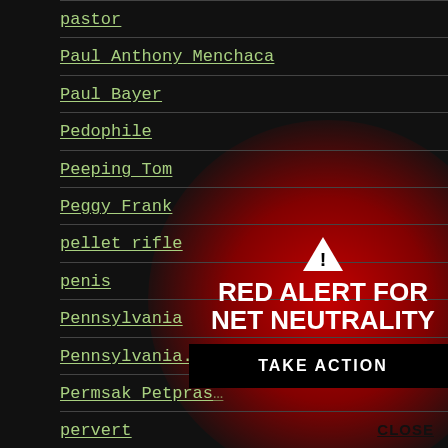pastor
Paul Anthony Menchaca
Paul Bayer
Pedophile
Peeping Tom
Peggy Frank
pellet rifle
penis
Pennsylvania
Pennsylvania. Br…
Permsak Petpras…
pervert
[Figure (infographic): Red Alert for Net Neutrality overlay with warning triangle icon, red background glow, black TAKE ACTION button, and CLOSE label]
RED ALERT FOR NET NEUTRALITY
TAKE ACTION
CLOSE